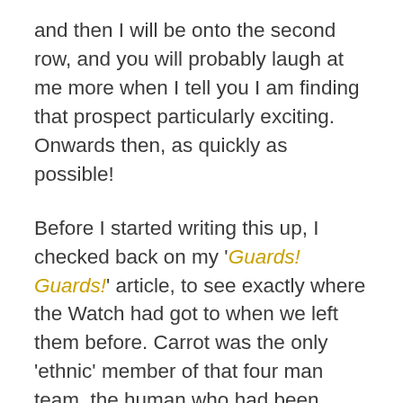and then I will be onto the second row, and you will probably laugh at me more when I tell you I am finding that prospect particularly exciting. Onwards then, as quickly as possible!
Before I started writing this up, I checked back on my 'Guards! Guards!' article, to see exactly where the Watch had got to when we left them before. Carrot was the only 'ethnic' member of that four man team, the human who had been raised a dwarf. This story is, in many ways, about race relations. The Night Watch has been ordered to recruit some more minorities, who take the form of Detritus the troll (whom we have met